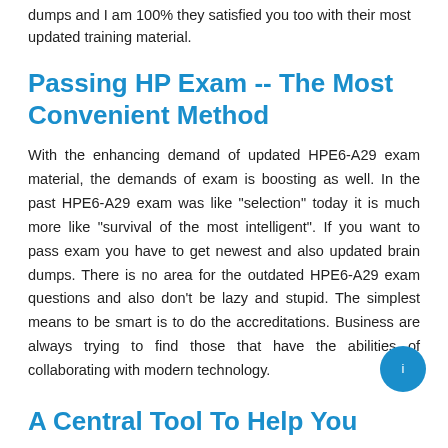dumps and I am 100% they satisfied you too with their most updated training material.
Passing HP Exam -- The Most Convenient Method
With the enhancing demand of updated HPE6-A29 exam material, the demands of exam is boosting as well. In the past HPE6-A29 exam was like "selection" today it is much more like "survival of the most intelligent". If you want to pass exam you have to get newest and also updated brain dumps. There is no area for the outdated HPE6-A29 exam questions and also don't be lazy and stupid. The simplest means to be smart is to do the accreditations. Business are always trying to find those that have the abilities of collaborating with modern technology.
A Central Tool To Help You